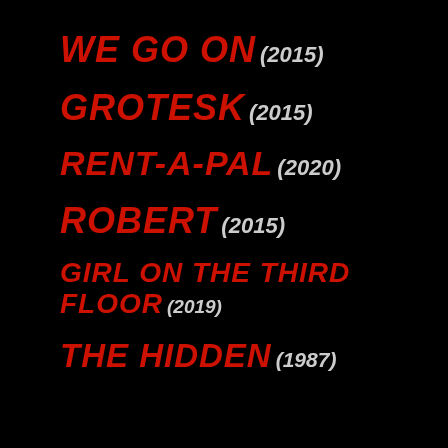WE GO ON (2015)
GROTESK (2015)
RENT-A-PAL (2020)
ROBERT (2015)
GIRL ON THE THIRD FLOOR (2019)
THE HIDDEN (1987)